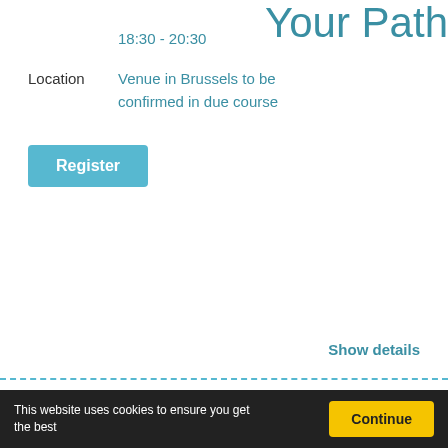Your Path
18:30 - 20:30
Location
Venue in Brussels to be confirmed in due course
Register
Show details
3rd session of Your Path ‘Sharing Circle
This website uses cookies to ensure you get the best
Continue